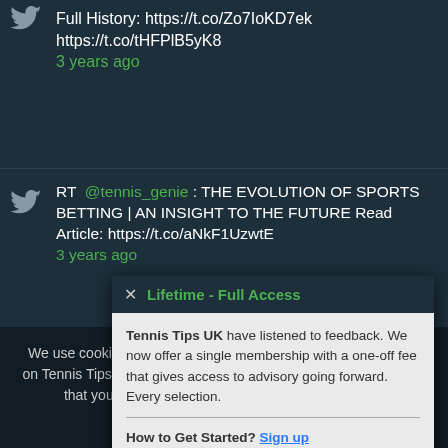Full History: https://t.co/Zo7IoKD7ek https://t.co/tHFPlB5yK8
3 years ago
RT @tennis_genie : THE EVOLUTION OF SPORTS BETTING | AN INSIGHT TO THE FUTURE Read Article: https://t.co/aNkF1UzwtE
3 years ago
Active Subscriber? Please follow @TTUKSubscribers to access advisory going forward.
3 years ago
[Figure (screenshot): Modal popup with header 'Lifetime - Full Access' and body text about Tennis Tips UK membership. Includes 'How to Get Started? Sign up' link.]
We use cookies to ensure that we give you the best experience on Tennis Tips UK. If you continue to use this site we will assume that you are happy with it. Gamble Responsibly 18+
OK